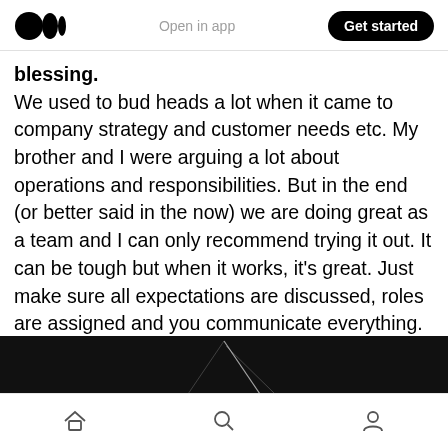Medium app header — Open in app | Get started
blessing.
We used to bud heads a lot when it came to company strategy and customer needs etc. My brother and I were arguing a lot about operations and responsibilities. But in the end (or better said in the now) we are doing great as a team and I can only recommend trying it out. It can be tough but when it works, it's great. Just make sure all expectations are discussed, roles are assigned and you communicate everything.
[Figure (photo): Dark/black image strip at the bottom of the content area, showing what appears to be light streaks or a road at night]
Bottom navigation bar with home, search, and profile icons